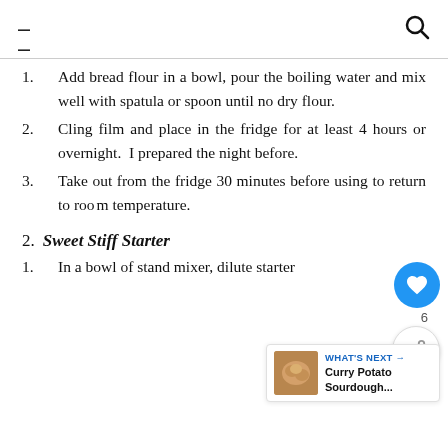≡  🔍
Add bread flour in a bowl, pour the boiling water and mix well with spatula or spoon until no dry flour.
Cling film and place in the fridge for at least 4 hours or overnight.  I prepared the night before.
Take out from the fridge 30 minutes before using to return to room temperature.
2. Sweet Stiff Starter
In a bowl of stand mixer, dilute starter